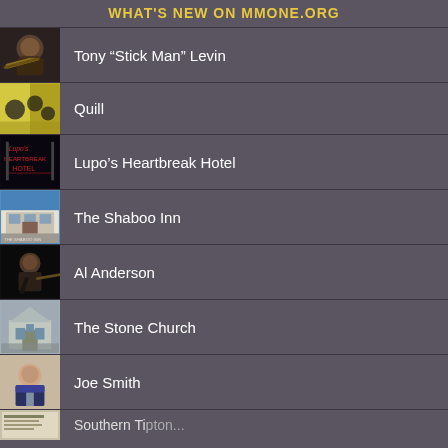WHAT'S NEW ON MMONE.ORG
Tony “Stick Man” Levin
Quill
Lupo’s Heartbreak Hotel
The Shaboo Inn
Al Anderson
The Stone Church
Joe Smith
Southern Tipton...